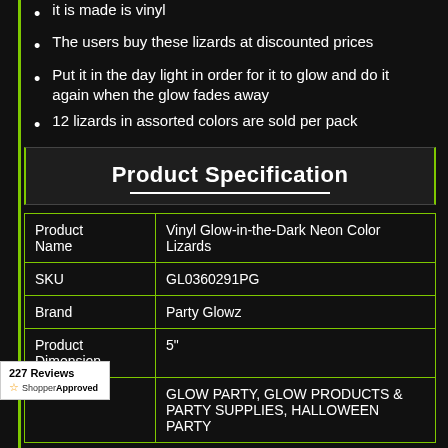it is made is vinyl
The users buy these lizards at discounted prices
Put it in the day light in order for it to glow and do it again when the glow fades away
12 lizards in assorted colors are sold per pack
Product Specification
|  |  |
| --- | --- |
| Product Name | Vinyl Glow-in-the-Dark Neon Color Lizards |
| SKU | GL0360291PG |
| Brand | Party Glowz |
| Product Dimension | 5" |
| Product | GLOW PARTY, GLOW PRODUCTS & PARTY SUPPLIES, HALLOWEEN PARTY |